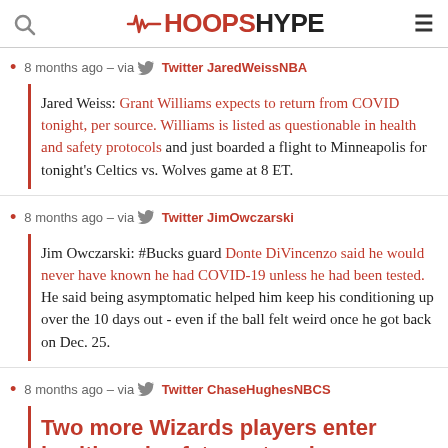HoopsHype
8 months ago – via Twitter JaredWeissNBA
Jared Weiss: Grant Williams expects to return from COVID tonight, per source. Williams is listed as questionable in health and safety protocols and just boarded a flight to Minneapolis for tonight's Celtics vs. Wolves game at 8 ET.
8 months ago – via Twitter JimOwczarski
Jim Owczarski: #Bucks guard Donte DiVincenzo said he would never have known he had COVID-19 unless he had been tested. He said being asymptomatic helped him keep his conditioning up over the 10 days out - even if the ball felt weird once he got back on Dec. 25.
8 months ago – via Twitter ChaseHughesNBCS
Two more Wizards players enter health and safety protocols